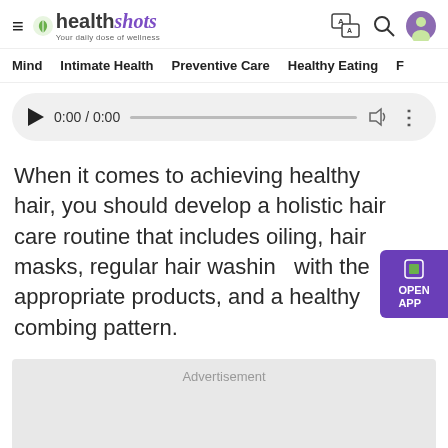healthshots — Your daily dose of wellness
[Figure (screenshot): Audio player control bar with play button, time display 0:00 / 0:00, progress bar, volume icon, and more options icon]
When it comes to achieving healthy hair, you should develop a holistic hair care routine that includes oiling, hair masks, regular hair washing with the appropriate products, and a healthy combing pattern.
Advertisement